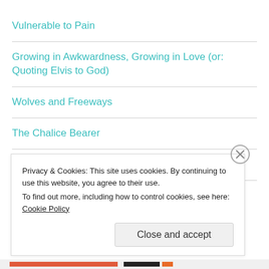Vulnerable to Pain
Growing in Awkwardness, Growing in Love (or: Quoting Elvis to God)
Wolves and Freeways
The Chalice Bearer
10-Year Anniversary
Privacy & Cookies: This site uses cookies. By continuing to use this website, you agree to their use.
To find out more, including how to control cookies, see here: Cookie Policy